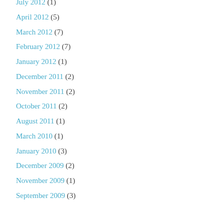July 2012 (1)
April 2012 (5)
March 2012 (7)
February 2012 (7)
January 2012 (1)
December 2011 (2)
November 2011 (2)
October 2011 (2)
August 2011 (1)
March 2010 (1)
January 2010 (3)
December 2009 (2)
November 2009 (1)
September 2009 (3)